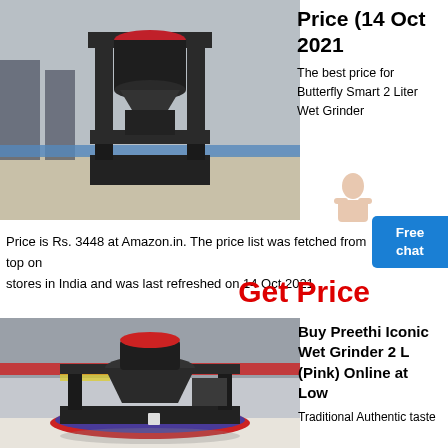[Figure (photo): Industrial crushing machine / grinder equipment on gravel ground in a factory setting]
Price (14 Oct 2021
The best price for Butterfly Smart 2 Liter Wet Grinder
Price is Rs. 3448 at Amazon.in. The price list was fetched from top online stores in India and was last refreshed on 14 Oct 2021
Get Price
[Figure (photo): Large industrial vertical shaft impact crusher machine displayed in a factory hall with colorful decorations]
Buy Preethi Iconic Wet Grinder 2 L (Pink) Online at Low
Traditional Authentic taste